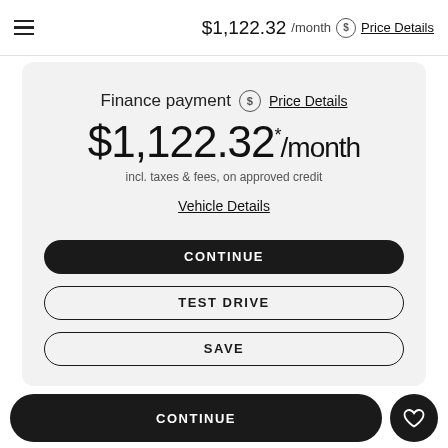$1,122.32 /month Price Details
Finance payment Price Details
$1,122.32 */month
incl. taxes & fees, on approved credit
Vehicle Details
CONTINUE
TEST DRIVE
SAVE
CONTINUE